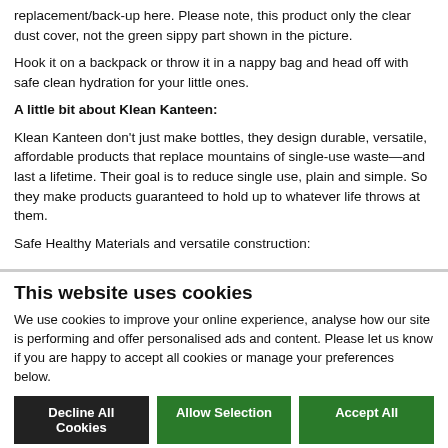replacement/back-up here. Please note, this product only the clear dust cover, not the green sippy part shown in the picture.
Hook it on a backpack or throw it in a nappy bag and head off with safe clean hydration for your little ones.
A little bit about Klean Kanteen:
Klean Kanteen don’t just make bottles, they design durable, versatile, affordable products that replace mountains of single-use waste—and last a lifetime. Their goal is to reduce single use, plain and simple. So they make products guaranteed to hold up to whatever life throws at them.
Safe Healthy Materials and versatile construction:
This website uses cookies
We use cookies to improve your online experience, analyse how our site is performing and offer personalised ads and content. Please let us know if you are happy to accept all cookies or manage your preferences below.
Decline All Cookies | Allow Selection | Accept All
Necessary | Preferences | Statistics | Marketing | Show details